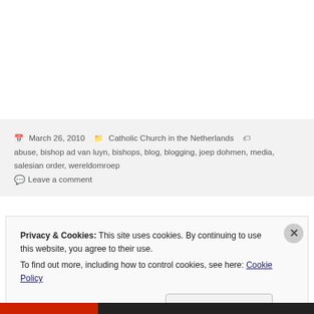March 26, 2010  Catholic Church in the Netherlands  abuse, bishop ad van luyn, bishops, blog, blogging, joep dohmen, media, salesian order, wereldomroep
Leave a comment
Privacy & Cookies: This site uses cookies. By continuing to use this website, you agree to their use.
To find out more, including how to control cookies, see here: Cookie Policy
Close and accept